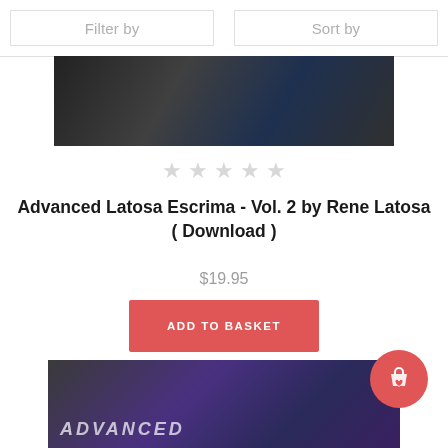Filter by
Sort by
[Figure (photo): Partially visible product image at top, dark toned martial arts video cover]
★★★★★ (empty stars rating)
Advanced Latosa Escrima - Vol. 2 by Rene Latosa ( Download )
$19.95
ADD TO BASKET
[Figure (photo): Partially visible product image at bottom, purple/dark toned martial arts video cover with text ADVANCED]